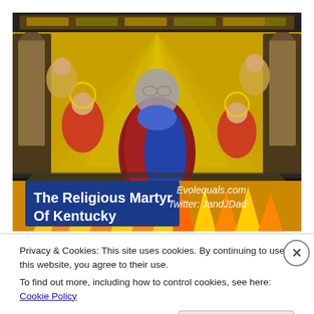[Figure (photo): A stained glass window image showing a religious scene with angels and a central figure surrounded by flames. A person's face photo has been superimposed over the central figure's face. In the lower-left corner is a blue rectangle with bold white text reading 'The Religious Martyr Of Kentucky'. In the lower-right area of the image, italic white text reads 'Evolequals.com' and 'Twitter: JandJDad'.]
Privacy & Cookies: This site uses cookies. By continuing to use this website, you agree to their use.
To find out more, including how to control cookies, see here: Cookie Policy